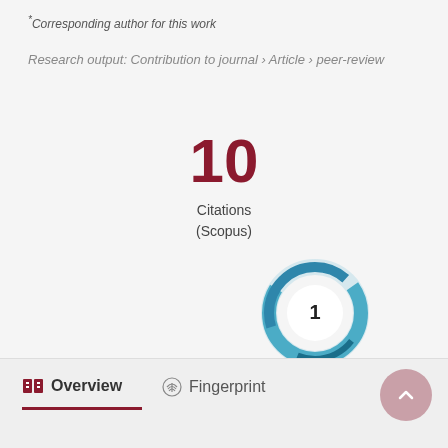*Corresponding author for this work
Research output: Contribution to journal › Article › peer-review
10
Citations
(Scopus)
[Figure (donut-chart): Altmetric donut badge showing score of 1, rendered as a blue swirling donut ring with white circle center containing the number 1]
Overview
Fingerprint